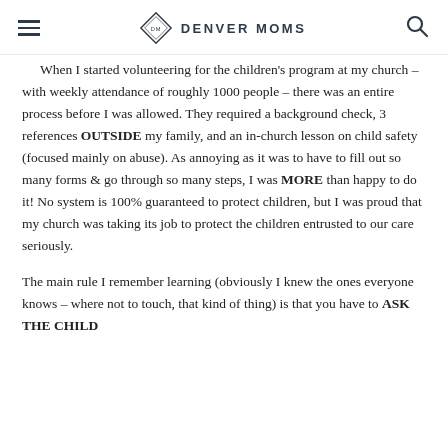Denver Moms
When I started volunteering for the children's program at my church – with weekly attendance of roughly 1000 people – there was an entire process before I was allowed. They required a background check, 3 references OUTSIDE my family, and an in-church lesson on child safety (focused mainly on abuse). As annoying as it was to have to fill out so many forms & go through so many steps, I was MORE than happy to do it! No system is 100% guaranteed to protect children, but I was proud that my church was taking its job to protect the children entrusted to our care seriously.
The main rule I remember learning (obviously I knew the ones everyone knows – where not to touch, that kind of thing) is that you have to ASK THE CHILD